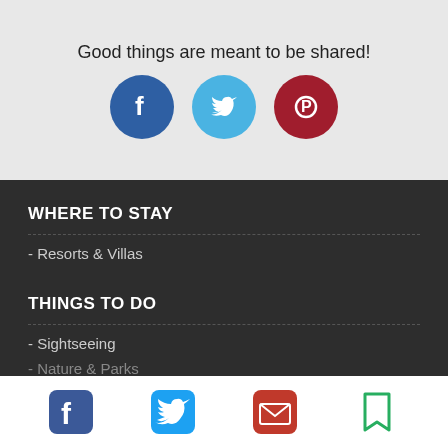Good things are meant to be shared!
[Figure (illustration): Three social media share buttons: Facebook (dark blue circle with f logo), Twitter (light blue circle with bird logo), Pinterest (dark red circle with P logo)]
WHERE TO STAY
- Resorts & Villas
THINGS TO DO
- Sightseeing
- Nature & Parks
- Outd...
[Figure (illustration): Bottom toolbar with four social/share icons: Facebook (blue square with f), Twitter (blue bird), Email (red envelope), Bookmark (green bookmark)]